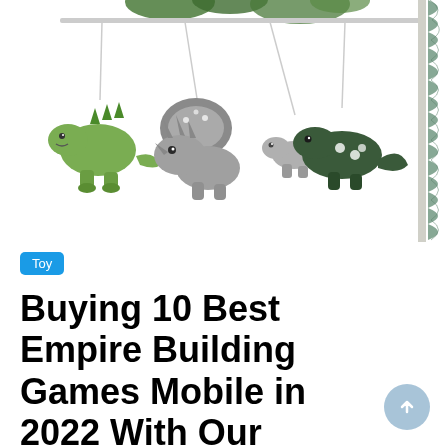[Figure (photo): A baby mobile featuring hanging plush dinosaur stuffed animals in green and gray tones, suspended by strings from a crib attachment with a ruffled sage green fabric wrap on the right side.]
Toy
Buying 10 Best Empire Building Games Mobile in 2022 With Our Experts